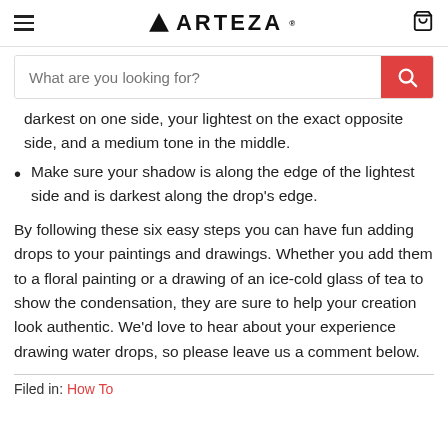ARTEZA (navigation bar with logo, hamburger menu, and cart icon)
What are you looking for? (search bar)
darkest on one side, your lightest on the exact opposite side, and a medium tone in the middle.
Make sure your shadow is along the edge of the lightest side and is darkest along the drop's edge.
By following these six easy steps you can have fun adding drops to your paintings and drawings. Whether you add them to a floral painting or a drawing of an ice-cold glass of tea to show the condensation, they are sure to help your creation look authentic. We'd love to hear about your experience drawing water drops, so please leave us a comment below.
Filed in: How To